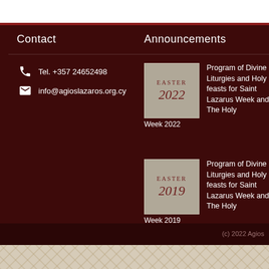Contact
Announcements
Tel. +357 24652498
info@agioslazaros.org.cy
[Figure (illustration): Easter 2022 thumbnail image with text EASTER 2022]
Program of Divine Liturgies and Holy feasts for Saint Lazarus Week and The Holy
Week 2022
[Figure (illustration): Easter 2019 thumbnail image with text EASTER 2019]
Program of Divine Liturgies and Holy feasts for Saint Lazarus Week and The Holy
Week 2019
(c) 2022 Agios